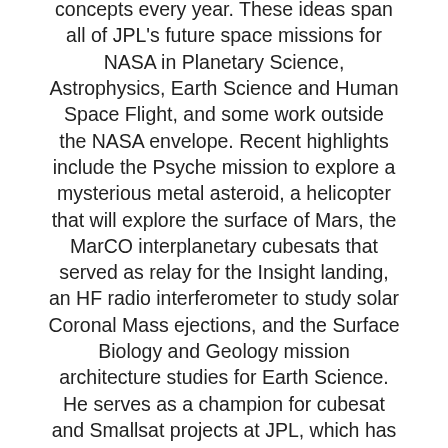concepts every year. These ideas span all of JPL's future space missions for NASA in Planetary Science, Astrophysics, Earth Science and Human Space Flight, and some work outside the NASA envelope. Recent highlights include the Psyche mission to explore a mysterious metal asteroid, a helicopter that will explore the surface of Mars, the MarCO interplanetary cubesats that served as relay for the Insight landing, an HF radio interferometer to study solar Coronal Mass ejections, and the Surface Biology and Geology mission architecture studies for Earth Science. He serves as a champion for cubesat and Smallsat projects at JPL, which has led to over 25 flight missions, leading towards a future where interplanetary cubesats are common. In a previous position, he was for several years the program manager of the Earth System Science Formulation office, leading the formulation of new ideas for Earth Science missions, which resulted in several major